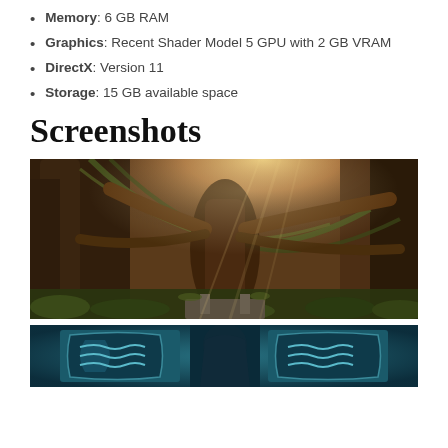Memory: 6 GB RAM
Graphics: Recent Shader Model 5 GPU with 2 GB VRAM
DirectX: Version 11
Storage: 15 GB available space
Screenshots
[Figure (screenshot): Game screenshot showing a lush jungle/forest environment with ancient ruins, large twisted tree, sunlight streaming through canopy, overgrown with vines and moss]
[Figure (screenshot): Partial game screenshot with teal/blue tones showing ornate carved stone or armor details]